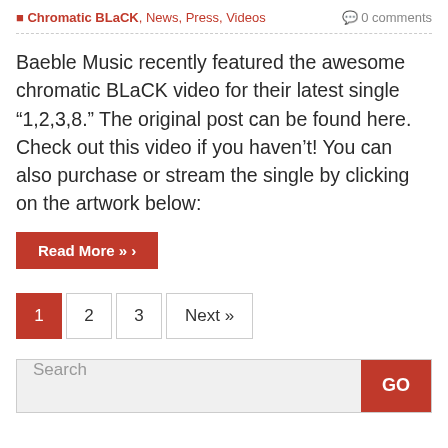Chromatic BLaCK, News, Press, Videos   0 comments
Baeble Music recently featured the awesome chromatic BLaCK video for their latest single “1,2,3,8.” The original post can be found here. Check out this video if you haven’t! You can also purchase or stream the single by clicking on the artwork below:
Read More » ›
1  2  3  Next »
Search  GO
OUT NOW